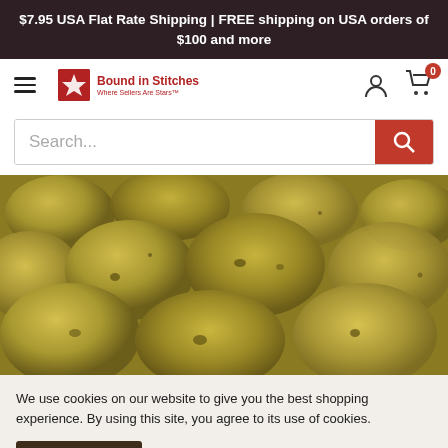$7.95 USA Flat Rate Shipping | FREE shipping on USA orders of $100 and more
[Figure (logo): Bound in Stitches logo with red star icon and text]
[Figure (photo): Close-up photo of yellow-green potatoes]
We use cookies on our website to give you the best shopping experience. By using this site, you agree to its use of cookies.
Accept